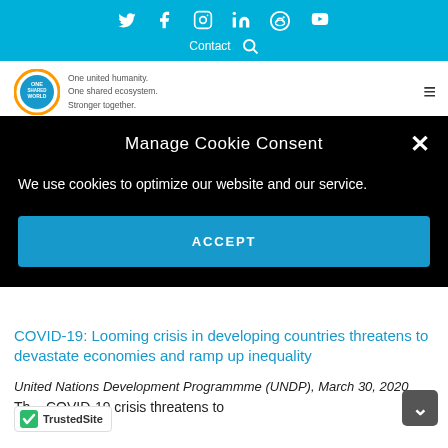Social icons: Twitter, Facebook, Instagram, LinkedIn, Reddit, YouTube | Contact | Search
[Figure (logo): One Shared World logo — circular orange/blue logo with text 'One united humanity. One shared ecosystem. Stronger together.']
Manage Cookie Consent
We use cookies to optimize our website and our service.
ACCEPT
COVID-19: Looming crisis in developing countries threatens to devastate economies and ramp up inequality
United Nations Development Programmme (UNDP), March 30, 2020
Th... COVID-19 crisis threatens to